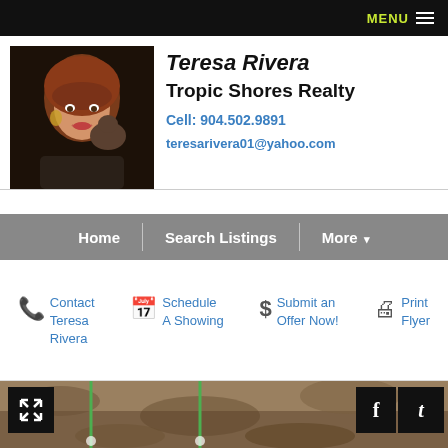MENU
Teresa Rivera
Tropic Shores Realty
Cell: 904.502.9891
teresarivera01@yahoo.com
[Figure (photo): Photo of Teresa Rivera, a woman with long red hair holding a small Yorkshire Terrier dog, dark background]
Home | Search Listings | More
Contact Teresa Rivera
Schedule A Showing
Submit an Offer Now!
Print Flyer
[Figure (map): Aerial/satellite map view with green road lines and navigation controls]